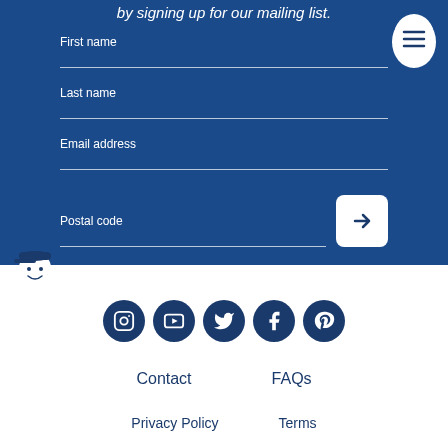by signing up for our mailing list.
First name
Last name
Email address
Postal code
[Figure (logo): Egg-shaped mascot with hamburger menu lines inside, white on navy blue background]
[Figure (illustration): White egg-shaped mascot character wearing a blue cap with small arms, smiling face]
[Figure (infographic): Row of 5 dark navy blue social media icon circles: Instagram, YouTube, Twitter, Facebook, Pinterest]
Contact
FAQs
Privacy Policy
Terms